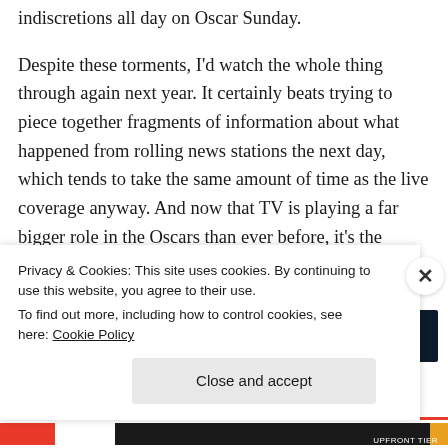indiscretions all day on Oscar Sunday.
Despite these torments, I'd watch the whole thing through again next year. It certainly beats trying to piece together fragments of information about what happened from rolling news stations the next day, which tends to take the same amount of time as the live coverage anyway. And now that TV is playing a far bigger role in the Oscars than ever before, it's the obvious place to start.
[Figure (other): Advertisement banner — dark navy background with faint dot pattern]
Privacy & Cookies: This site uses cookies. By continuing to use this website, you agree to their use.
To find out more, including how to control cookies, see here: Cookie Policy